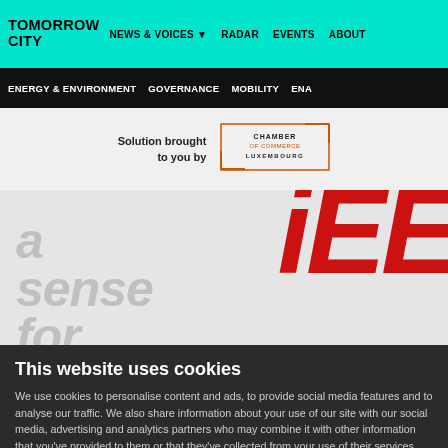TOMORROW CITY | NEWS & VOICES | RADAR | EVENTS | ABOUT
ENERGY & ENVIRONMENT | GOVERNANCE | MOBILITY | ENA
Solution brought to you by CHAMBER OF COMMERCE LUXEMBOURG
[Figure (advertisement): IEE advertisement with large red italic 'iEE' logo and gray italic text 'a sense for']
This website uses cookies
We use cookies to personalise content and ads, to provide social media features and to analyse our traffic. We also share information about your use of our site with our social media, advertising and analytics partners who may combine it with other information that you've provided to them or that they've collected from your use of their services. You consent to our cookies if you continue to use our